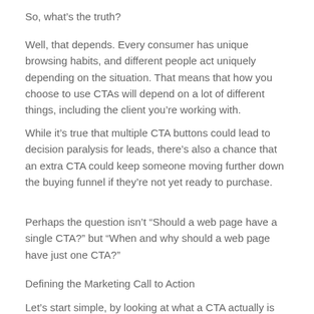So, what’s the truth?
Well, that depends. Every consumer has unique browsing habits, and different people act uniquely depending on the situation. That means that how you choose to use CTAs will depend on a lot of different things, including the client you’re working with.
While it’s true that multiple CTA buttons could lead to decision paralysis for leads, there’s also a chance that an extra CTA could keep someone moving further down the buying funnel if they’re not yet ready to purchase.
Perhaps the question isn’t “Should a web page have a single CTA?” but “When and why should a web page have just one CTA?”
Defining the Marketing Call to Action
Let’s start simple, by looking at what a CTA actually is